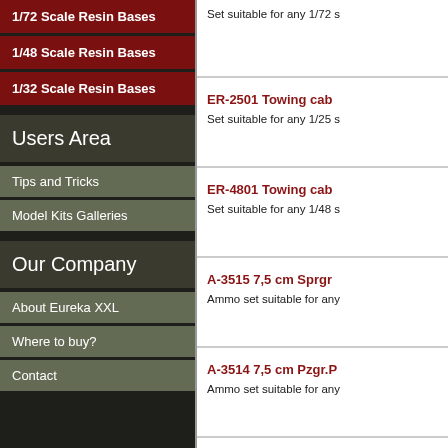1/72 Scale Resin Bases
1/48 Scale Resin Bases
1/32 Scale Resin Bases
Users Area
Tips and Tricks
Model Kits Galleries
Our Company
About Eureka XXL
Where to buy?
Contact
Set suitable for any 1/72 s
ER-2501 Towing cab
Set suitable for any 1/25 s
ER-4801 Towing cab
Set suitable for any 1/48 s
A-3515 7,5 cm Sprgr
Ammo set suitable for any
A-3514 7,5 cm Pzgr.P
Ammo set suitable for any
A-3513 7,5 cm Pzgr.P
Ammo set suitable for any